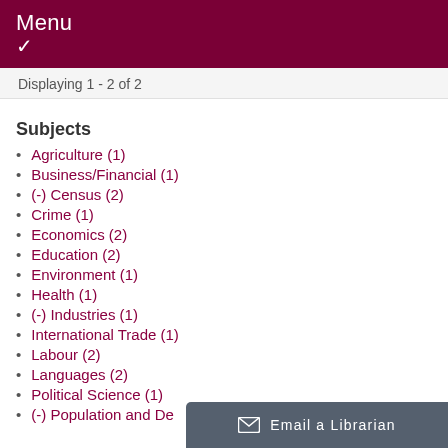Menu ✓
Displaying 1 - 2 of 2
Subjects
Agriculture (1)
Business/Financial (1)
(-) Census (2)
Crime (1)
Economics (2)
Education (2)
Environment (1)
Health (1)
(-) Industries (1)
International Trade (1)
Labour (2)
Languages (2)
Political Science (1)
(-) Population and De...
Email a Librarian